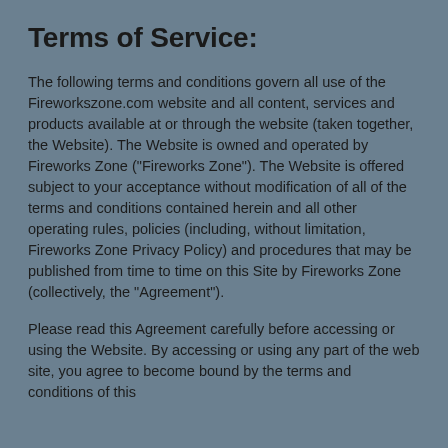Terms of Service:
The following terms and conditions govern all use of the Fireworkszone.com website and all content, services and products available at or through the website (taken together, the Website). The Website is owned and operated by Fireworks Zone ("Fireworks Zone"). The Website is offered subject to your acceptance without modification of all of the terms and conditions contained herein and all other operating rules, policies (including, without limitation, Fireworks Zone Privacy Policy) and procedures that may be published from time to time on this Site by Fireworks Zone (collectively, the "Agreement").
Please read this Agreement carefully before accessing or using the Website. By accessing or using any part of the web site, you agree to become bound by the terms and conditions of this